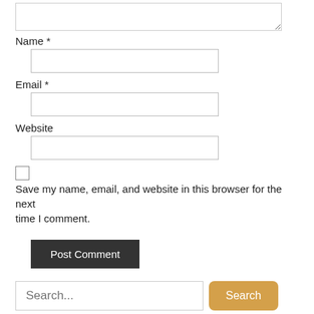[textarea top]
Name *
[Name input field]
Email *
[Email input field]
Website
[Website input field]
Save my name, email, and website in this browser for the next time I comment.
Post Comment
Search...
Search
Recent Posts